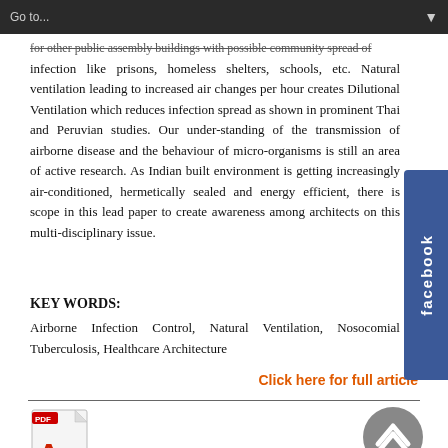Go to...
for other public assembly buildings with possible community spread of infection like prisons, homeless shelters, schools, etc. Natural ventilation leading to increased air changes per hour creates Dilutional Ventilation which reduces infection spread as shown in prominent Thai and Peruvian studies. Our under-standing of the transmission of airborne diseases and the behaviour of micro-organisms is still an area of active research. As Indian built environment is getting increasingly air-conditioned, hermetically sealed and energy efficient, there is scope in this lead paper to create awareness among architects on this multi-disciplinary issue.
KEY WORDS:
Airborne Infection Control, Natural Ventilation, Nosocomial Tuberculosis, Healthcare Architecture
Click here for full article
[Figure (illustration): PDF icon with Adobe Acrobat logo]
[Figure (illustration): Scroll to top circular button with upward chevron arrow]